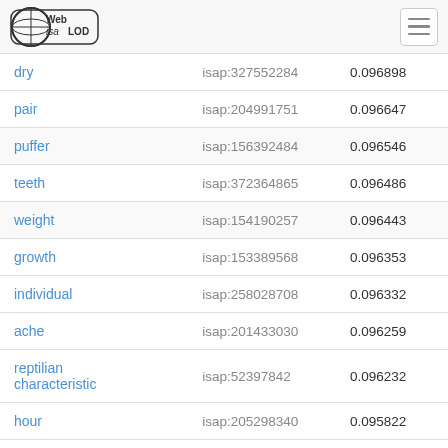Web isa LOD
| dry | isap:327552284 | 0.096898 |
| pair | isap:204991751 | 0.096647 |
| puffer | isap:156392484 | 0.096546 |
| teeth | isap:372364865 | 0.096486 |
| weight | isap:154190257 | 0.096443 |
| growth | isap:153389568 | 0.096353 |
| individual | isap:258028708 | 0.096332 |
| ache | isap:201433030 | 0.096259 |
| reptilian characteristic | isap:52397842 | 0.096232 |
| hour | isap:205298340 | 0.095822 |